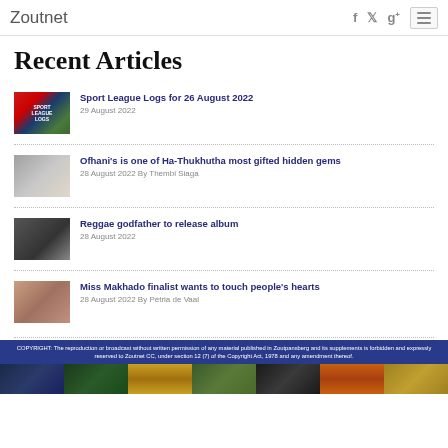Zoutnet
Recent Articles
Sport League Logs for 26 August 2022
29 August 2022
Ofhani's is one of Ha-Thukhutha most gifted hidden gems
28 August 2022 By Thembi Siaga
Reggae godfather to release album
28 August 2022
Miss Makhado finalist wants to touch people's hearts
28 August 2022 By Pétria de Vaal
COPYRIGHT: The reproduction or broadcast without written permission of any material published in Zoutpansberg and its supplements is forbidden and expressly reserved to Zoutnet CC, under section 12 (7) of the Copyright Act, 1978 and any amendment thereof.